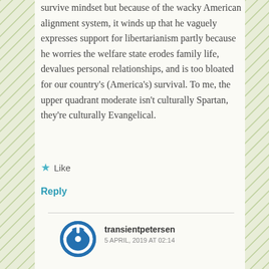survive mindset but because of the wacky American alignment system, it winds up that he vaguely expresses support for libertarianism partly because he worries the welfare state erodes family life, devalues personal relationships, and is too bloated for our country's (America's) survival. To me, the upper quadrant moderate isn't culturally Spartan, they're culturally Evangelical.
★ Like
Reply
transientpetersen
5 APRIL, 2019 AT 02:14
This corresponds with my initial impression. I thought for sure that the punchline for the upper quadrant